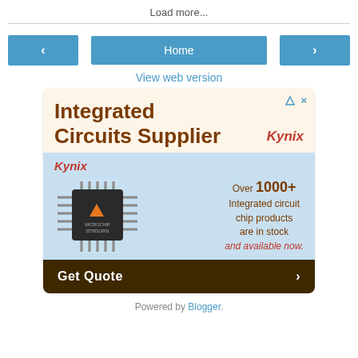Load more...
[Figure (infographic): Navigation row with left arrow button, Home button, and right arrow button]
View web version
[Figure (infographic): Kynix advertisement for Integrated Circuits Supplier. Top section on cream background: large brown bold text 'Integrated Circuits Supplier' with red italic Kynix logo top right. Bottom section on light blue background: red italic Kynix logo, microchip image (Microchip brand IC), text 'Over 1000+ Integrated circuit chip products are in stock and available now.' in dark red/brown. Dark brown footer bar: 'Get Quote' with right arrow.]
Powered by Blogger.